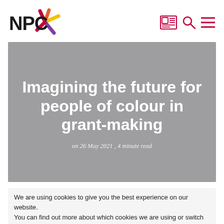NPC
[Figure (logo): NPC logo with colorful asterisk/star mark in red, orange, yellow and purple]
Imagining the future for people of colour in grant-making
on 26 May 2021 , 4 minute read
We are using cookies to give you the best experience on our website. You can find out more about which cookies we are using or switch them off in settings.